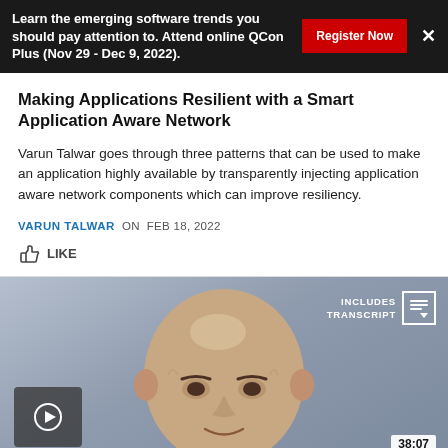Learn the emerging software trends you should pay attention to. Attend online QCon Plus (Nov 29 - Dec 9, 2022).
Making Applications Resilient with a Smart Application Aware Network
Varun Talwar goes through three patterns that can be used to make an application highly available by transparently injecting application aware network components which can improve resiliency.
VARUN TALWAR ON  FEB 18, 2022
LIKE
[Figure (photo): Video thumbnail showing a bald man smiling, with a play button overlay in the bottom left, an INCLUDES TRANSCRIPT badge in the top right, and a 38:07 duration badge in the bottom right. The background is a gradient blue-gray.]